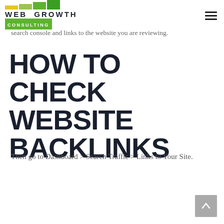Web Growth Consulting
search console and links to the website you are reviewing.
HOW TO CHECK WEBSITE BACKLINKS
Then go to Dashboard > Search Traffic > Links to Your Site.